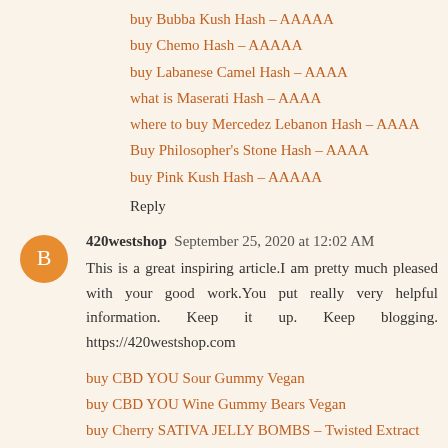buy Bubba Kush Hash – AAAAA
buy Chemo Hash – AAAAA
buy Labanese Camel Hash – AAAA
what is Maserati Hash – AAAA
where to buy Mercedez Lebanon Hash – AAAA
Buy Philosopher's Stone Hash – AAAA
buy Pink Kush Hash – AAAAA
Reply
420westshop  September 25, 2020 at 12:02 AM
This is a great inspiring article.I am pretty much pleased with your good work.You put really very helpful information. Keep it up. Keep blogging. https://420westshop.com
buy CBD YOU Sour Gummy Vegan
buy CBD YOU Wine Gummy Bears Vegan
buy Cherry SATIVA JELLY BOMBS – Twisted Extract
buy Cotton Candy THC Distillate – Dabeast
what is weed
where to buy weed